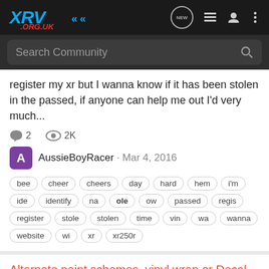XRV .ORG.UK
register my xr but I wanna know if it has been stolen in the passed, if anyone can help me out I'd very much...
2 comments, 2K views
AussieBoyRacer · Mar 4, 2016
bee cheer cheers day hard hem i'm ide identify na ole ow passed regis register stole stolen time vin wa wanna website wi xr xr250r
Alternate paint schemes, vinyl wrap or Decal ideas.
Varadero
I was wondering if anyone has any ideas or have any pictures that they would like to share about changing or modifying the looks of the old Varadero SD01/02? I've never